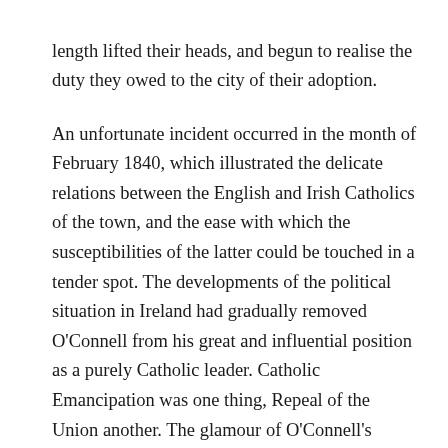length lifted their heads, and begun to realise the duty they owed to the city of their adoption.

An unfortunate incident occurred in the month of February 1840, which illustrated the delicate relations between the English and Irish Catholics of the town, and the ease with which the susceptibilities of the latter could be touched in a tender spot. The developments of the political situation in Ireland had gradually removed O'Connell from his great and influential position as a purely Catholic leader. Catholic Emancipation was one thing, Repeal of the Union another. The glamour of O'Connell's personality had captured in any case the support of the Irish in Lancashire, whilst many Englishmen who were still under a deep debt of gratitude to him for his great services to the Catholic cause, had their doubts as to the wisdom of